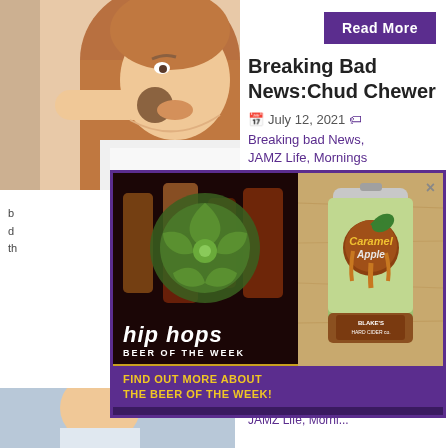[Figure (photo): Woman with brown hair eating something, biting into food]
[Figure (logo): Read More button in purple]
Breaking Bad News:Chud Chewer
July 12, 2021
Breaking bad News, JAMZ Life, Mornings
Shelley is calling to
[Figure (advertisement): Hip Hops Beer of the Week ad overlay showing Blake's Hard Cider Caramel Apple can on wooden surface, with purple background and yellow text saying FIND OUT MORE ABOUT THE BEER OF THE WEEK!]
2nd Date Update, JAMZ Life, Mornings